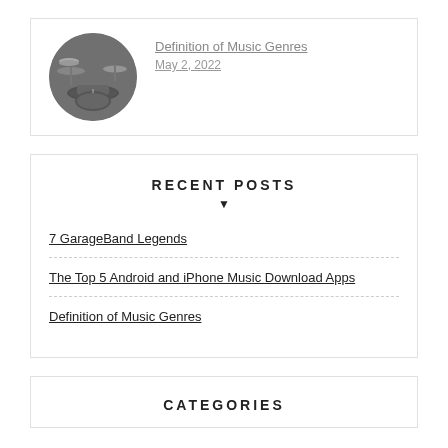[Figure (photo): Circular thumbnail photo of a drum kit/cymbals]
Definition of Music Genres
May 2, 2022
RECENT POSTS
7 GarageBand Legends
The Top 5 Android and iPhone Music Download Apps
Definition of Music Genres
CATEGORIES